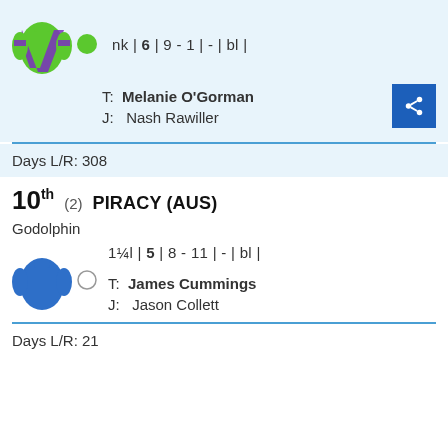[Figure (illustration): Green jockey silks with purple diagonal sash and green cap]
nk | 6 | 9 - 1 | - | bl |
T: Melanie O'Gorman
J: Nash Rawiller
Days L/R: 308
10th (2) PIRACY (AUS)
Godolphin
[Figure (illustration): Blue jockey silks with white circle cap]
1¼l | 5 | 8 - 11 | - | bl |
T: James Cummings
J: Jason Collett
Days L/R: 21